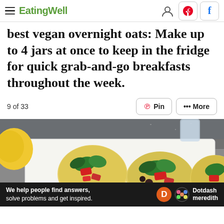EatingWell
best vegan overnight oats: Make up to 4 jars at once to keep in the fridge for quick grab-and-go breakfasts throughout the week.
9 of 33
[Figure (photo): Egg muffin cups with vegetables including red peppers, spinach, mushrooms on a white rectangular plate, with a yellow lemon in the background, on a gray surface.]
We help people find answers, solve problems and get inspired. Dotdash meredith